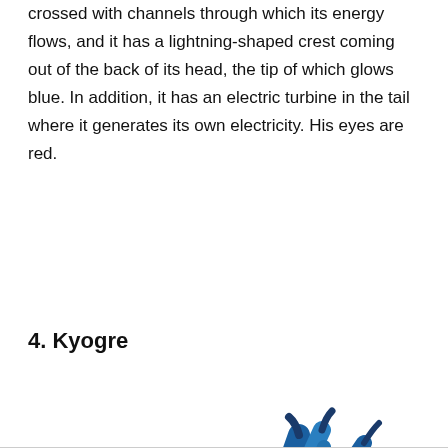crossed with channels through which its energy flows, and it has a lightning-shaped crest coming out of the back of its head, the tip of which glows blue. In addition, it has an electric turbine in the tail where it generates its own electricity. His eyes are red.
4. Kyogre
[Figure (illustration): Illustration of Kyogre, a large blue whale-like Pokémon with red stripe markings and large fins, lying down facing left.]